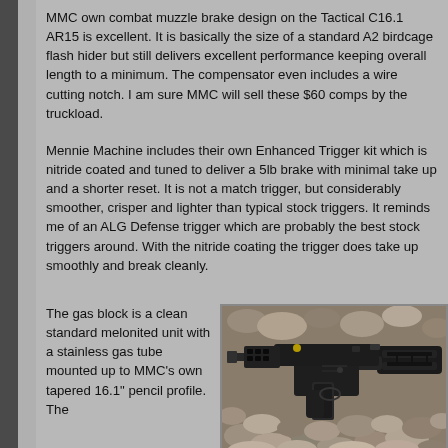MMC own combat muzzle brake design on the Tactical C16.1 AR15 is excellent. It is basically the size of a standard A2 birdcage flash hider but still delivers excellent performance keeping overall length to a minimum.  The compensator even includes a wire cutting notch. I am sure MMC will sell these $60 comps by the truckload.
Mennie Machine includes their own Enhanced Trigger kit which is nitride coated and tuned to deliver a 5lb brake with minimal take up and a shorter reset. It is not a match trigger, but considerably smoother, crisper and lighter than typical stock triggers.  It reminds me of an ALG Defense trigger which are probably the best stock triggers around. With the nitride coating the trigger does take up smoothly and break cleanly.
The gas block is a clean standard melonited unit with a stainless gas tube mounted up to MMC’s own tapered 16.1” pencil profile.  The
[Figure (photo): Photo of a black AR-15 style rifle (Tactical C16.1) resting on gravel/rocks, showing the receiver, pistol grip, stock and muzzle area. The rifle is black with a folding/collapsible stock visible.]